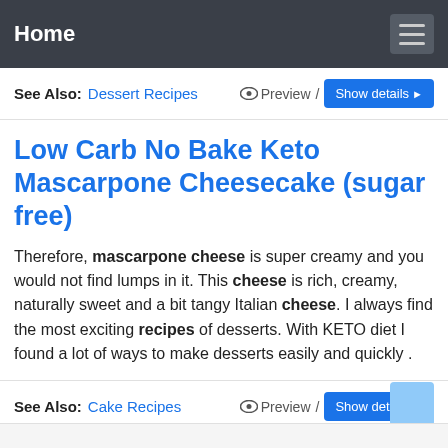Home
See Also: Dessert Recipes  Preview / Show details
Low Carb No Bake Keto Mascarpone Cheesecake (sugar free)
Therefore, mascarpone cheese is super creamy and you would not find lumps in it. This cheese is rich, creamy, naturally sweet and a bit tangy Italian cheese. I always find the most exciting recipes of desserts. With KETO diet I found a lot of ways to make desserts easily and quickly .
See Also: Cake Recipes  Preview / Show details